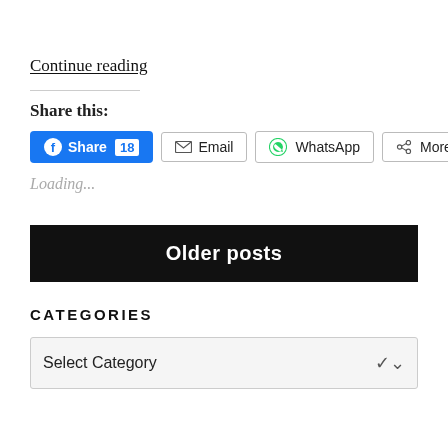Continue reading
Share this:
[Figure (screenshot): Social share buttons row: Facebook Share 18, Email, WhatsApp, More]
Loading...
Older posts
CATEGORIES
Select Category